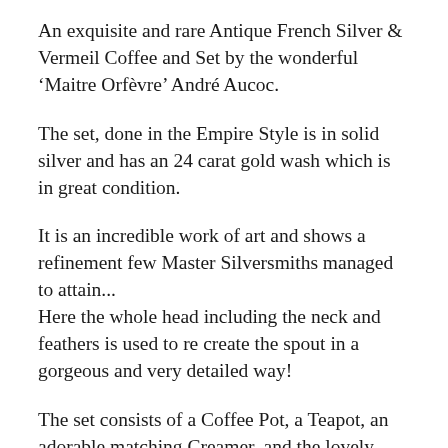An exquisite and rare Antique French Silver & Vermeil Coffee and Set by the wonderful ‘Maitre Orfèvre’ André Aucoc.
The set, done in the Empire Style is in solid silver and has an 24 carat gold wash which is in great condition.
It is an incredible work of art and shows a refinement few Master Silversmiths managed to attain...
Here the whole head including the neck and feathers is used to re create the spout in a gorgeous and very detailed way!
The set consists of a Coffee Pot, a Teapot, an adorable matching Creamer, and the lovely matching Sugar Casket.